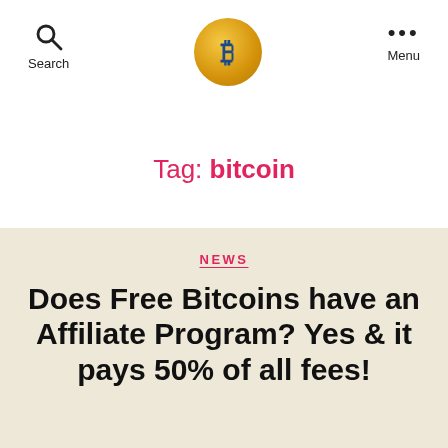Search | [Logo] | Menu
Tag: bitcoin
NEWS
Does Free Bitcoins have an Affiliate Program? Yes & it pays 50% of all fees!